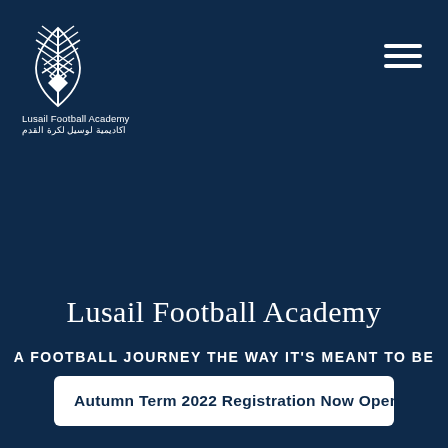[Figure (logo): Lusail Football Academy logo — stylized white feather/wheat emblem on dark navy background, with English and Arabic text below]
[Figure (other): Hamburger menu icon — three horizontal white lines in top right corner]
Lusail Football Academy
A FOOTBALL JOURNEY THE WAY IT'S MEANT TO BE
Autumn Term 2022 Registration Now Open